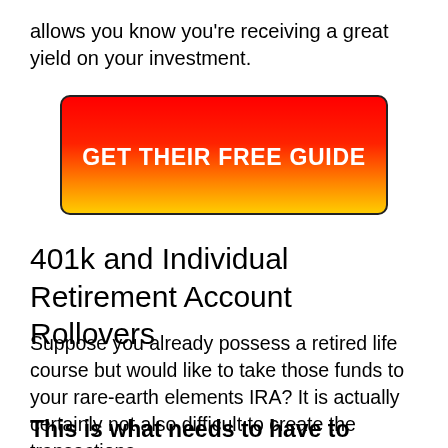allows you know you're receiving a great yield on your investment.
[Figure (other): Red to yellow gradient 'GET THEIR FREE GUIDE' call-to-action button with rounded corners and dark border]
401k and Individual Retirement Account Rollovers
Suppose you already possess a retired life course but would like to take those funds to your rare-earth elements IRA? It is actually certainly not also difficult to create the transactions.
This is what needs to have to become